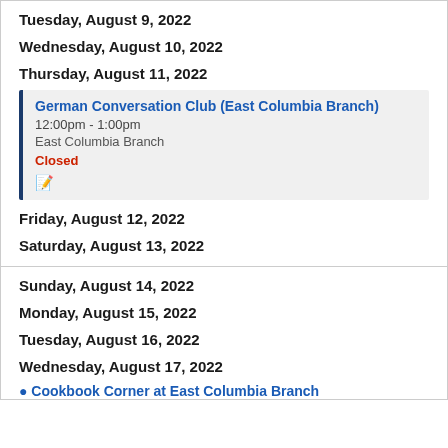Tuesday, August 9, 2022
Wednesday, August 10, 2022
Thursday, August 11, 2022
German Conversation Club (East Columbia Branch)
12:00pm - 1:00pm
East Columbia Branch
Closed
Friday, August 12, 2022
Saturday, August 13, 2022
Sunday, August 14, 2022
Monday, August 15, 2022
Tuesday, August 16, 2022
Wednesday, August 17, 2022
Cookbook Corner at East Columbia Branch